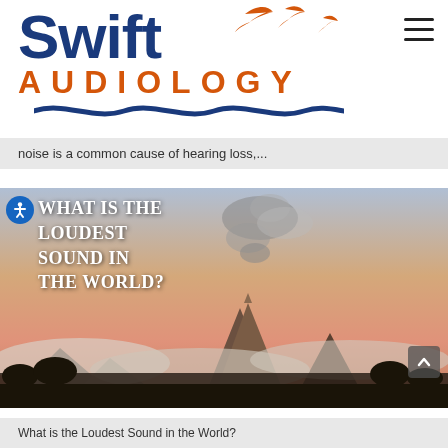[Figure (logo): Swift Audiology logo with blue 'Swift' text, orange 'AUDIOLOGY' text, swift birds, and wave underline]
noise is a common cause of hearing loss,...
[Figure (photo): Volcano erupting at sunrise with smoke plume, clouds below mountain, trees in foreground. Article title overlay: 'What is the Loudest Sound in the World?']
What is the Loudest Sound in the World?